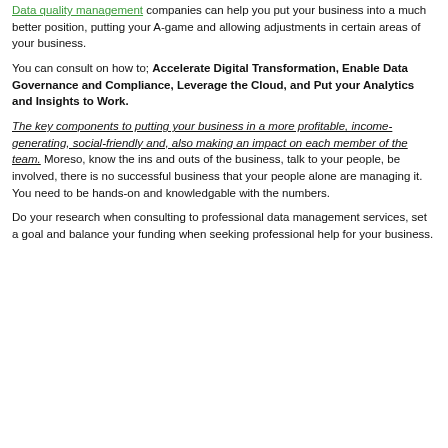Data quality management companies can help you put your business into a much better position, putting your A-game and allowing adjustments in certain areas of your business.
You can consult on how to; Accelerate Digital Transformation, Enable Data Governance and Compliance, Leverage the Cloud, and Put your Analytics and Insights to Work.
The key components to putting your business in a more profitable, income-generating, social-friendly and, also making an impact on each member of the team. Moreso, know the ins and outs of the business, talk to your people, be involved, there is no successful business that your people alone are managing it. You need to be hands-on and knowledgable with the numbers.
Do your research when consulting to professional data management services, set a goal and balance your funding when seeking professional help for your business.